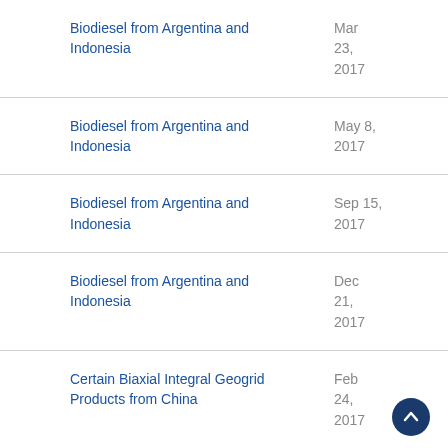Biodiesel from Argentina and Indonesia
Biodiesel from Argentina and Indonesia
Biodiesel from Argentina and Indonesia
Biodiesel from Argentina and Indonesia
Certain Biaxial Integral Geogrid Products from China